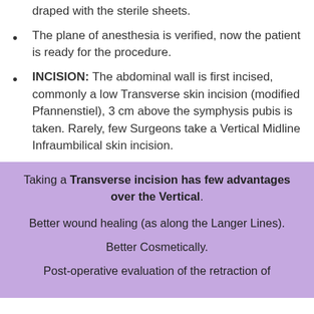draped with the sterile sheets.
The plane of anesthesia is verified, now the patient is ready for the procedure.
INCISION: The abdominal wall is first incised, commonly a low Transverse skin incision (modified Pfannenstiel), 3 cm above the symphysis pubis is taken. Rarely, few Surgeons take a Vertical Midline Infraumbilical skin incision.
Taking a Transverse incision has few advantages over the Vertical.
Better wound healing (as along the Langer Lines).
Better Cosmetically.
Post-operative evaluation of the retraction of